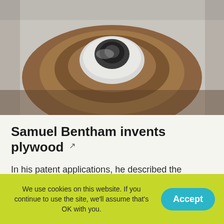[Figure (photo): Close-up photograph of a wooden object with concentric circular rings and a dark metal bolt or screw in the center, showing layers of wood similar to plywood cross-section.]
Samuel Bentham invents plywood
In his patent applications, he described the concept of laminating several layers of veneer with glue to form a thicker piece 🔒🔒 the first description of what we now call plywood.
We use cookies on this website. If you continue to use the site, we'll assume that's OK with you.